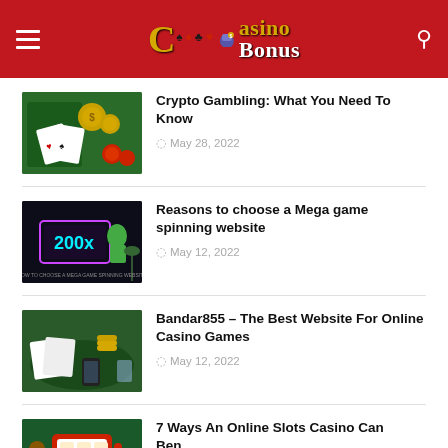Casino Bonus
Crypto Gambling: What You Need To Know — May 28, 2022
Reasons to choose a Mega game spinning website — May 12, 2022
Bandar855 – The Best Website For Online Casino Games — May 12, 2022
7 Ways An Online Slots Casino Can Benefit You — May 10, 2022